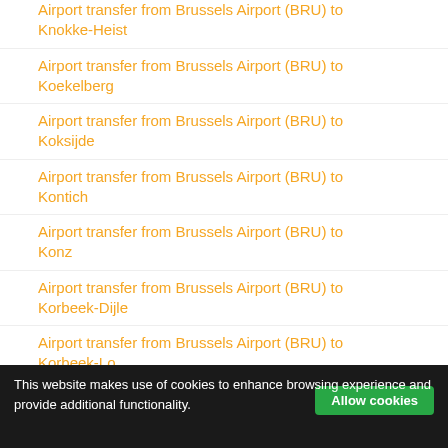Airport transfer from Brussels Airport (BRU) to Knokke-Heist
Airport transfer from Brussels Airport (BRU) to Koekelberg
Airport transfer from Brussels Airport (BRU) to Koksijde
Airport transfer from Brussels Airport (BRU) to Kontich
Airport transfer from Brussels Airport (BRU) to Konz
Airport transfer from Brussels Airport (BRU) to Korbeek-Dijle
Airport transfer from Brussels Airport (BRU) to Korbeek-Lo
This website makes use of cookies to enhance browsing experience and provide additional functionality.
Allow cookies